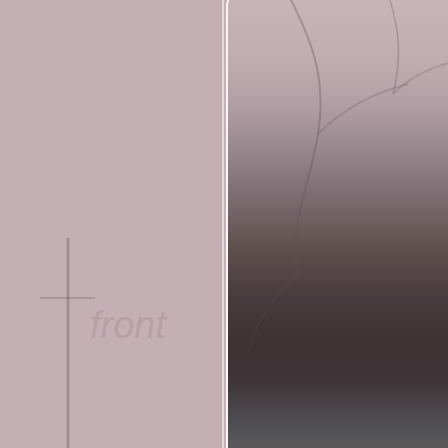[Figure (photo): Partial view of a document page showing two rounded rectangular cards on a muted rose/taupe background. The top card (right column) shows a dark radial gradient fading from light rose at top through dark grey-black in the middle to light grey at bottom, with faint branch/tree line overlays. The left column has a plain rose-taupe background with faint figure outlines at the bottom. A second partially-visible rounded card appears at the bottom of the right column.]
Publication: 16 August 2019 Se